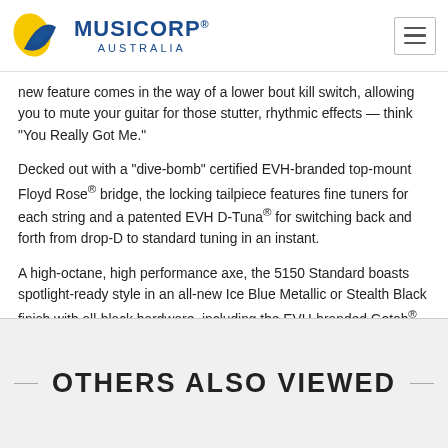MUSICORP AUSTRALIA
new feature comes in the way of a lower bout kill switch, allowing you to mute your guitar for those stutter, rhythmic effects — think "You Really Got Me."
Decked out with a "dive-bomb" certified EVH-branded top-mount Floyd Rose® bridge, the locking tailpiece features fine tuners for each string and a patented EVH D-Tuna® for switching back and forth from drop-D to standard tuning in an instant.
A high-octane, high performance axe, the 5150 Standard boasts spotlight-ready style in an all-new Ice Blue Metallic or Stealth Black finish with all-black hardware, including the EVH-branded Gotoh® tuning machines.
OTHERS ALSO VIEWED